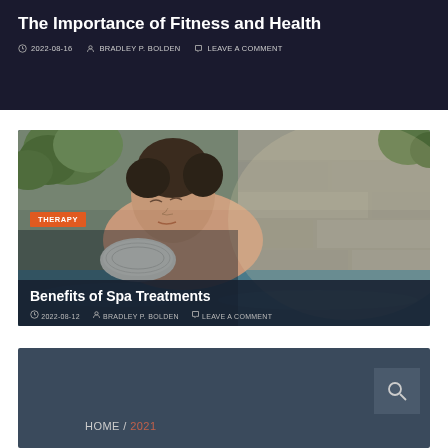The Importance of Fitness and Health
2022-08-16   BRADLEY P. BOLDEN   LEAVE A COMMENT
[Figure (photo): Woman reclining in a spa bath with a rolled towel behind her head, eyes closed, relaxed expression, stone tile wall in background]
THERAPY
Benefits of Spa Treatments
2022-08-12   BRADLEY P. BOLDEN   LEAVE A COMMENT
HOME / 2021